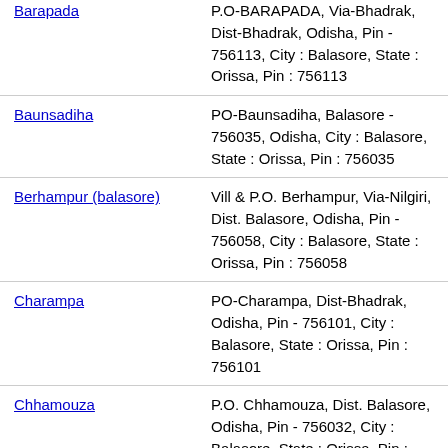| Location | Address |
| --- | --- |
| Barapada | P.O-BARAPADA, Via-Bhadrak, Dist-Bhadrak, Odisha, Pin - 756113, City : Balasore, State : Orissa, Pin : 756113 |
| Baunsadiha | PO-Baunsadiha, Balasore - 756035, Odisha, City : Balasore, State : Orissa, Pin : 756035 |
| Berhampur (balasore) | Vill & P.O. Berhampur, Via-Nilgiri, Dist. Balasore, Odisha, Pin - 756058, City : Balasore, State : Orissa, Pin : 756058 |
| Charampa | PO-Charampa, Dist-Bhadrak, Odisha, Pin - 756101, City : Balasore, State : Orissa, Pin : 756101 |
| Chhamouza | P.O. Chhamouza, Dist. Balasore, Odisha, Pin - 756032, City : Balasore, State : Orissa, Pin : 756032 |
| Daruha | Vill. Daruha, P.O. Katisahi, |